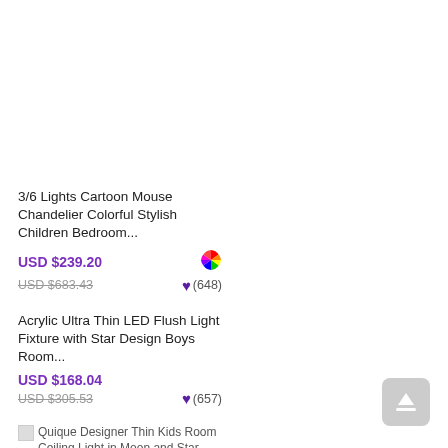3/6 Lights Cartoon Mouse Chandelier Colorful Stylish Children Bedroom...
USD $239.20
USD $683.43
(648)
Acrylic Ultra Thin LED Flush Light Fixture with Star Design Boys Room...
USD $168.04
USD $305.53
(657)
[Figure (photo): Quique Designer Thin Kids Room Ceiling Light in Moon and Star Shade - product thumbnail]
Quique Designer Thin Kids Room Ceiling Light in Moon and Star Shade
[Figure (photo): Resin Unicorn Wall Sconce Light Cartoon 1 Bulb Wall Lighting with K9 Crystal Shade - product thumbnail]
Resin Unicorn Wall Sconce Light Cartoon 1 Bulb Wall Lighting with K9 Crystal Shade